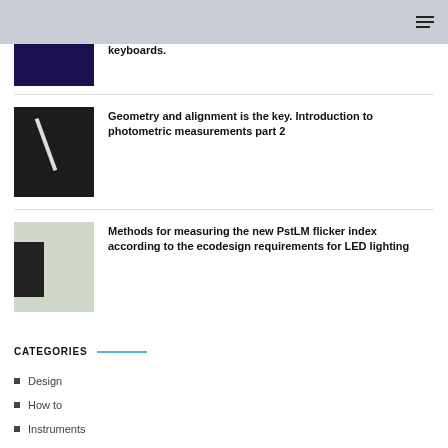keyboards.
[Figure (photo): Dark image with a white light bar/tube at an angle, person partially visible]
Geometry and alignment is the key. Introduction to photometric measurements part 2
[Figure (photo): Office/lab interior with dark device on left, bright white ceiling and minimalist furniture]
Methods for measuring the new PstLM flicker index according to the ecodesign requirements for LED lighting
CATEGORIES
Design
How to
Instruments
Photobiology